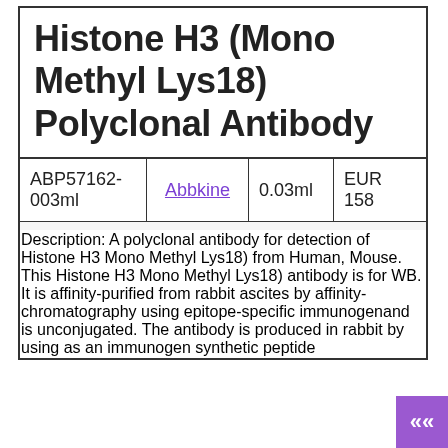Histone H3 (Mono Methyl Lys18) Polyclonal Antibody
|  | Supplier | Volume | Price |
| --- | --- | --- | --- |
| ABP57162-003ml | Abbkine | 0.03ml | EUR 158 |
Description: A polyclonal antibody for detection of Histone H3 Mono Methyl Lys18) from Human, Mouse. This Histone H3 Mono Methyl Lys18) antibody is for WB. It is affinity-purified from rabbit ascites by affinity-chromatography using epitope-specific immunogenand is unconjugated. The antibody is produced in rabbit by using as an immunogen synthetic peptide